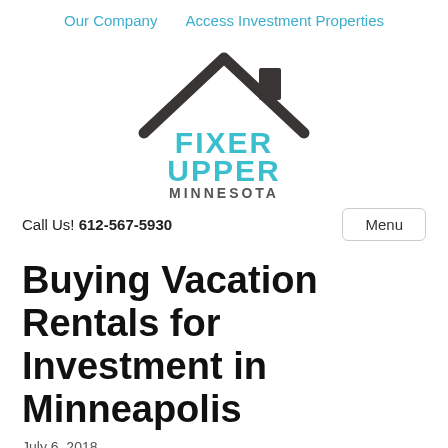Our Company   Access Investment Properties
[Figure (logo): Fixer Upper Minnesota logo: house roofline icon in dark gray above teal text reading FIXER UPPER MINNESOTA]
Call Us! 612-567-5930
Buying Vacation Rentals for Investment in Minneapolis
July 6, 2018